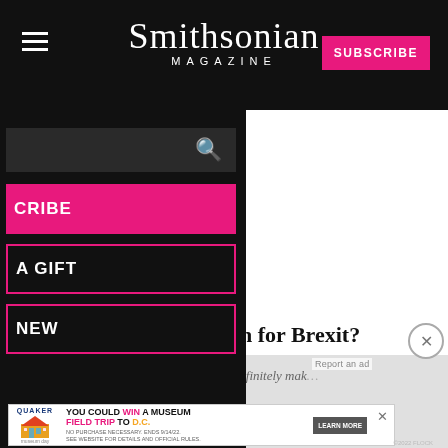Smithsonian Magazine
[Figure (screenshot): Smithsonian Magazine website screenshot showing mobile navigation menu open with search bar, SUBSCRIBE button (pink), GIVE A GIFT button (pink outline), and RENEW button (pink outline). Right side shows white ad area with 'Report an ad' text. Below shows partial article headline about Brexit, article teaser text, and a Quaker museum trip advertisement banner at the bottom.]